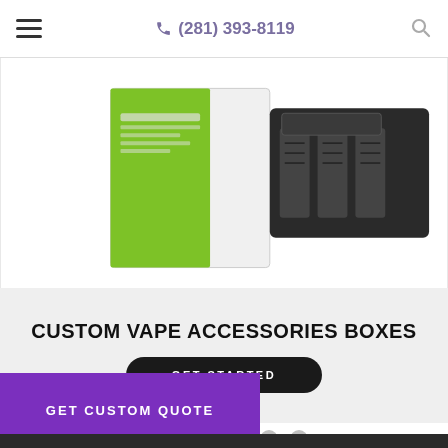(281) 393-8119
[Figure (photo): Product photo showing a green and white box packaging alongside a black multi-slot battery charger device]
CUSTOM VAPE ACCESSORIES BOXES
GET STARTED
[Figure (infographic): Carousel navigation dots — one red active dot followed by five gray dots]
GET CUSTOM QUOTE